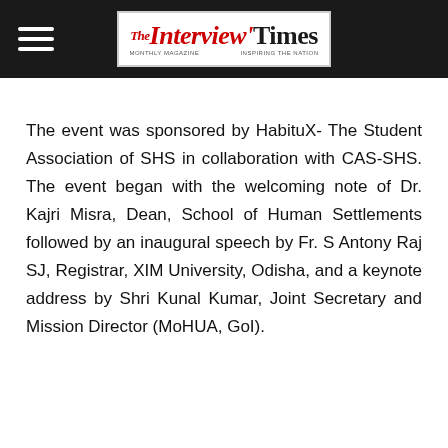The Interview Times
The event was sponsored by HabituX- The Student Association of SHS in collaboration with CAS-SHS. The event began with the welcoming note of Dr. Kajri Misra, Dean, School of Human Settlements followed by an inaugural speech by Fr. S Antony Raj SJ, Registrar, XIM University, Odisha, and a keynote address by Shri Kunal Kumar, Joint Secretary and Mission Director (MoHUA, GoI).